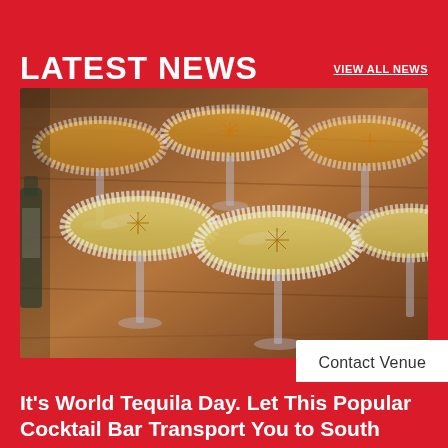LATEST NEWS
VIEW ALL NEWS
[Figure (photo): Multiple margarita cocktails with salted rims and dried citrus slice garnishes on a wooden bar surface]
Contact Venue
Privacy · Terms
It's World Tequila Day. Let This Popular Cocktail Bar Transport You to South